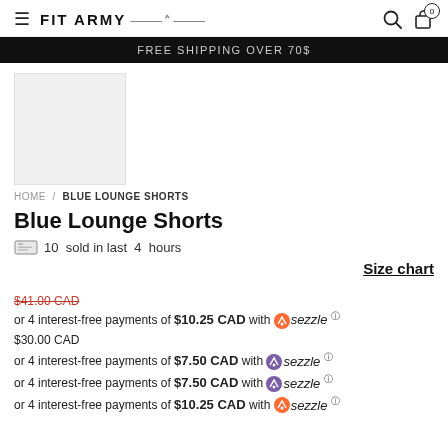FIT ARMY
FREE SHIPPING OVER 70$
[Figure (photo): Product thumbnail image placeholder for Blue Lounge Shorts]
HOME / BLUE LOUNGE SHORTS
Blue Lounge Shorts
10 sold in last 4 hours
Size chart
$41.00 CAD
or 4 interest-free payments of $10.25 CAD with sezzle ⓘ $30.00 CAD
or 4 interest-free payments of $7.50 CAD with sezzle ⓘ
or 4 interest-free payments of $7.50 CAD with sezzle ⓘ
or 4 interest-free payments of $10.25 CAD with sezzle ⓘ